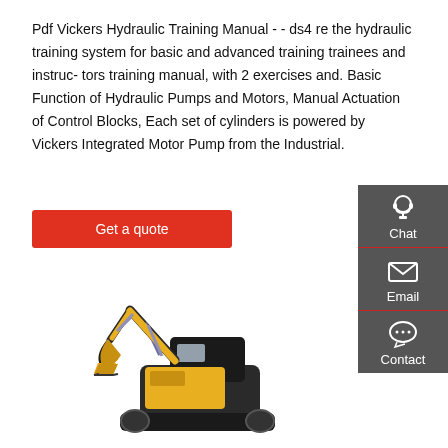Pdf Vickers Hydraulic Training Manual - - ds4 re the hydraulic training system for basic and advanced training trainees and instruc- tors training manual, with 2 exercises and. Basic Function of Hydraulic Pumps and Motors, Manual Actuation of Control Blocks, Each set of cylinders is powered by Vickers Integrated Motor Pump from the Industrial.
Get a quote
[Figure (infographic): Dark grey sidebar with three items: Chat (headset icon), Email (envelope icon), Contact (speech bubble icon), separated by red horizontal lines.]
[Figure (photo): Yellow and black mini excavator / compact excavator with arm extended, photographed on white background.]